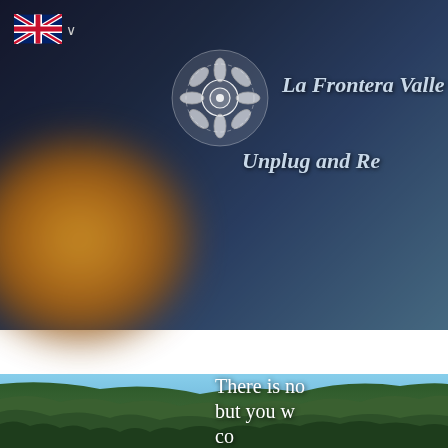[Figure (screenshot): Website header with dark blue-grey background showing a partially visible sunflower or warm orange blur on the left, a decorative white mandala/snowflake logo in center, and text 'La Frontera Valle Cochan' and 'Unplug and Re' on the right side]
[Figure (logo): UK/British flag icon with dropdown chevron in top left corner]
La Frontera Valle Cochan
Unplug and Re
HOME | B&B | CAMPING | CABAÑITA EN EL BOSQUE
[Figure (photo): Hero image of densely forested green mountain hillside with blue cloudy sky visible at top right, and white text overlay reading 'There is no' / 'but you w' / 'co']